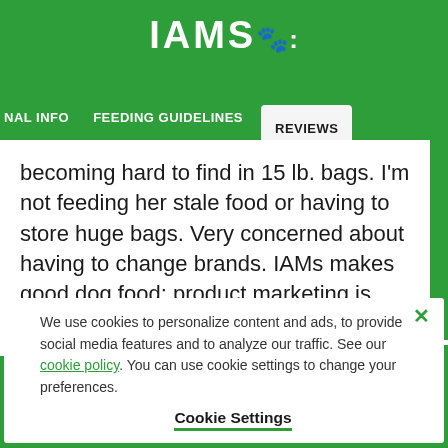IAMS
NAL INFO   FEEDING GUIDELINES   REVIEWS
becoming hard to find in 15 lb. bags. I'm not feeding her stale food or having to store huge bags. Very concerned about having to change brands. IAMs makes good dog food; product marketing is poor.
We use cookies to personalize content and ads, to provide social media features and to analyze our traffic. See our cookie policy. You can use cookie settings to change your preferences.
Cookie Settings